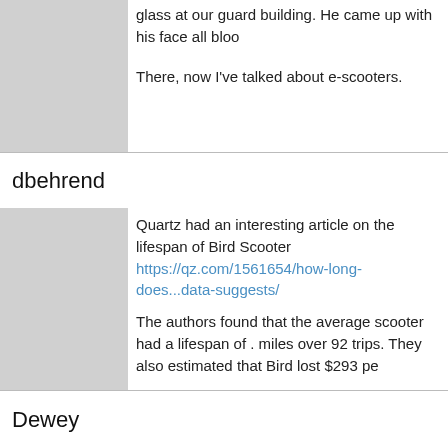glass at our guard building. He came up with his face all bloo

There, now I've talked about e-scooters.
dbehrend
Quartz had an interesting article on the lifespan of Bird Scoot
https://qz.com/1561654/how-long-does...data-suggests/

The authors found that the average scooter had a lifespan of miles over 92 trips. They also estimated that Bird lost $293 pe

I recall reading somewhere that someone analyzed Lime data scooters lasted about 28 days.

I like that scooters are getting people out of cars and provide trips. I'm a little concerned about how much waste might be i
Dewey
Streetsblog mentioned a recent study of e-scooter injuries in A
https://www.austintexas.gov/sites/de...udy_5-2-19.pdf